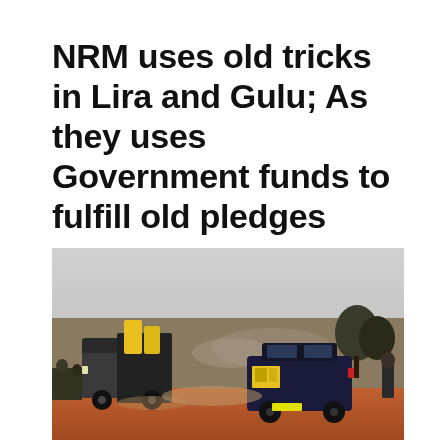NRM uses old tricks in Lira and Gulu; As they uses Government funds to fulfill old pledges
[Figure (photo): Outdoor scene showing vehicles on a dirt road at a crowded market or gathering area. A truck with yellow jerrycans is visible on the left, and a dark SUV with yellow campaign stickers/posters on the right. Smoke and trees visible in the background under an overcast sky.]